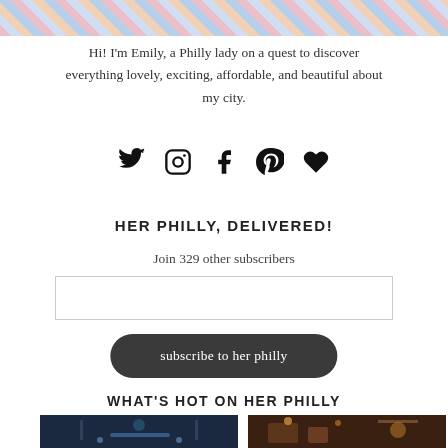[Figure (photo): Colorful patterned fabric or banner image strip at the top of the page]
Hi! I'm Emily, a Philly lady on a quest to discover everything lovely, exciting, affordable, and beautiful about my city.
[Figure (other): Row of social media icons: Twitter, Instagram, Facebook, Pinterest, and a heart/bloglovin icon]
HER PHILLY, DELIVERED!
Join 329 other subscribers
[Figure (other): Email input text field (empty/blank)]
[Figure (other): Dark rounded button with text: subscribe to her philly]
WHAT'S HOT ON HER PHILLY
[Figure (photo): Night cityscape photo — dark blue lit street scene]
[Figure (photo): Warm interior scene with lights and plants]